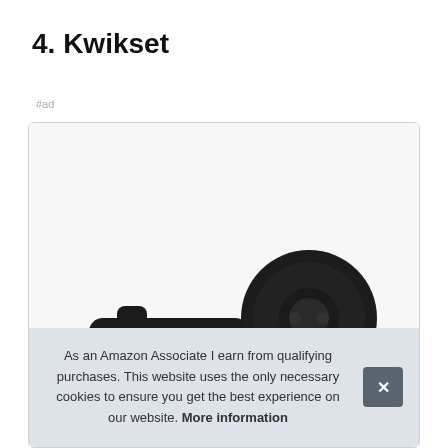4. Kwikset
#ad
[Figure (photo): Product photo of a Kwikset black door lever/lock hardware on a white background inside a rounded-corner card]
As an Amazon Associate I earn from qualifying purchases. This website uses the only necessary cookies to ensure you get the best experience on our website. More information